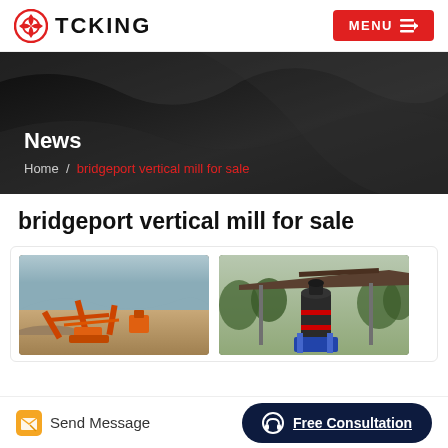TCKING | MENU
[Figure (screenshot): Dark hero banner with industrial machinery background, showing 'News' heading and breadcrumb 'Home / bridgeport vertical mill for sale']
bridgeport vertical mill for sale
[Figure (photo): Two industrial mining/milling site photos side by side — left shows orange conveyor equipment on sandy terrain, right shows a vertical mill installation under a roof structure]
Send Message | Free Consultation